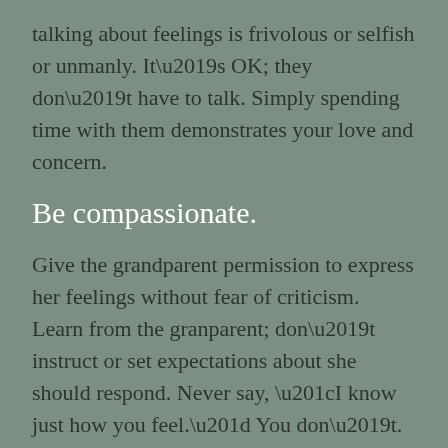talking about feelings is frivolous or selfish or unmanly. It’s OK; they don’t have to talk. Simply spending time with them demonstrates your love and concern.
Be compassionate.
Give the grandparent permission to express her feelings without fear of criticism. Learn from the granparent; don’t instruct or set expectations about she should respond. Never say, “I know just how you feel.” You don’t. Think about your helper role as someone who “walks with” not